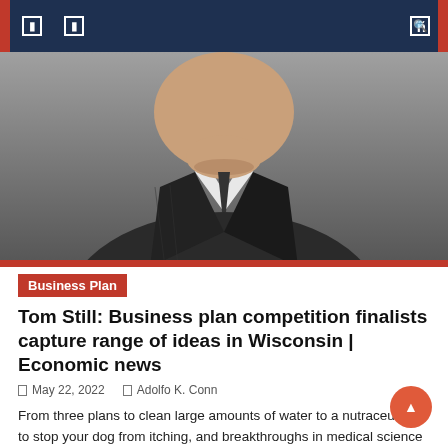Navigation header with menu icons
[Figure (photo): Close-up photograph of a man in a dark pinstripe suit and white shirt, cropped to show lower face and upper torso against a gray background]
Business Plan
Tom Still: Business plan competition finalists capture range of ideas in Wisconsin | Economic news
May 22, 2022   Adolfo K. Conn
From three plans to clean large amounts of water to a nutraceutical to stop your dog from itching, and breakthroughs in medical science to new ways to use artificial intelligence, virtual reality and software, the “Diligent Dozen” of the 2022 Governor of Wisconsin Business Plan Competition represent a cross section of technology